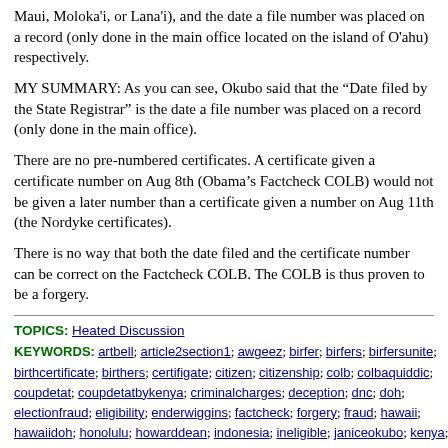Maui, Moloka'i, or Lana'i), and the date a file number was placed on a record (only done in the main office located on the island of O'ahu) respectively.
MY SUMMARY: As you can see, Okubo said that the “Date filed by the State Registrar” is the date a file number was placed on a record (only done in the main office).
There are no pre-numbered certificates. A certificate given a certificate number on Aug 8th (Obama’s Factcheck COLB) would not be given a later number than a certificate given a number on Aug 11th (the Nordyke certificates).
There is no way that both the date filed and the certificate number can be correct on the Factcheck COLB. The COLB is thus proven to be a forgery.
TOPICS: Heated Discussion
KEYWORDS: artbell; article2section1; awgeez; birfer; birfers; birfersunite; birthcertificate; birthers; certifigate; citizen; citizenship; colb; colbaquiddic; coupdetat; coupdetatbykenya; criminalcharges; deception; dnc; doh; electionfraud; eligibility; enderwiggins; factcheck; forgery; fraud; hawaii; hawaiidoh; honolulu; howarddean; indonesia; ineligible; janiceokubo; kenya; naturalborn; naturalborncitizen; noaccountability; obama; obamacolb; obamatruthfiles; okubo; pelosi; proud2beabirfer; theendenderwiggins; tinfoilhat;